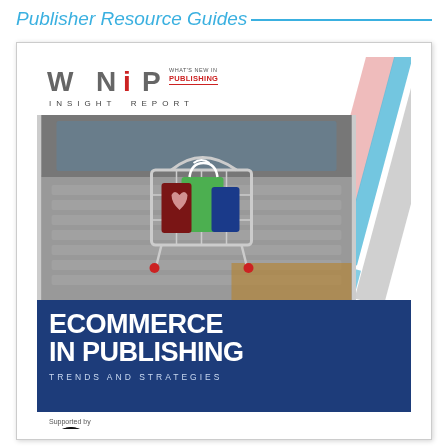Publisher Resource Guides
[Figure (illustration): Cover of WNIP Insight Report titled 'Ecommerce in Publishing: Trends and Strategies'. Shows a miniature shopping cart filled with colorful shopping bags sitting on a laptop keyboard. Decorative diagonal bars in pink/red, blue, and gray are in the top-right. The WNIP logo appears top-left with 'INSIGHT REPORT' text. A dark blue banner contains the report title. Bottom shows 'Supported by' text with a sponsor logo partially visible.]